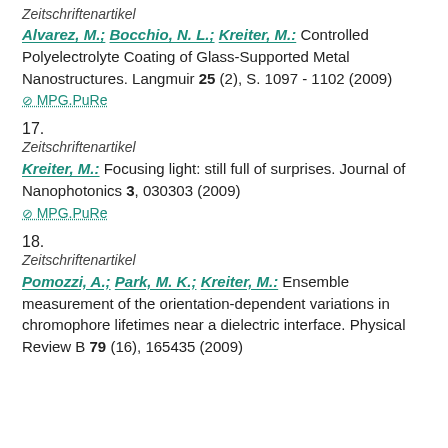Zeitschriftenartikel
Alvarez, M.; Bocchio, N. L.; Kreiter, M.: Controlled Polyelectrolyte Coating of Glass-Supported Metal Nanostructures. Langmuir 25 (2), S. 1097 - 1102 (2009)
MPG.PuRe
17.
Zeitschriftenartikel
Kreiter, M.: Focusing light: still full of surprises. Journal of Nanophotonics 3, 030303 (2009)
MPG.PuRe
18.
Zeitschriftenartikel
Pomozzi, A.; Park, M. K.; Kreiter, M.: Ensemble measurement of the orientation-dependent variations in chromophore lifetimes near a dielectric interface. Physical Review B 79 (16), 165435 (2009)